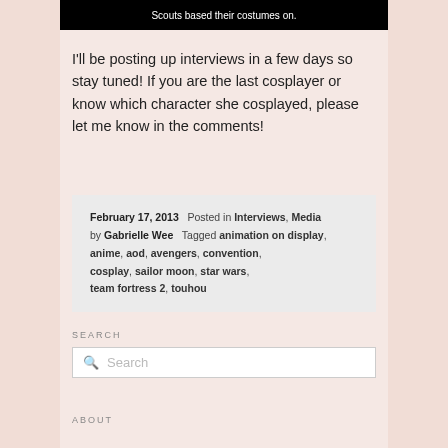Scouts based their costumes on.
I'll be posting up interviews in a few days so stay tuned! If you are the last cosplayer or know which character she cosplayed, please let me know in the comments!
February 17, 2013  Posted in Interviews, Media by Gabrielle Wee  Tagged animation on display, anime, aod, avengers, convention, cosplay, sailor moon, star wars, team fortress 2, touhou
SEARCH
ABOUT